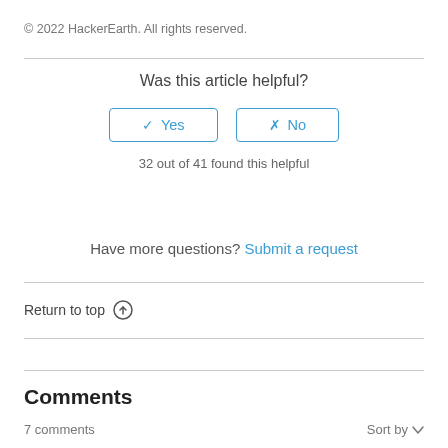© 2022 HackerEarth. All rights reserved.
Was this article helpful?
✓ Yes | ✗ No
32 out of 41 found this helpful
Have more questions? Submit a request
Return to top ↑
Comments
7 comments
Sort by